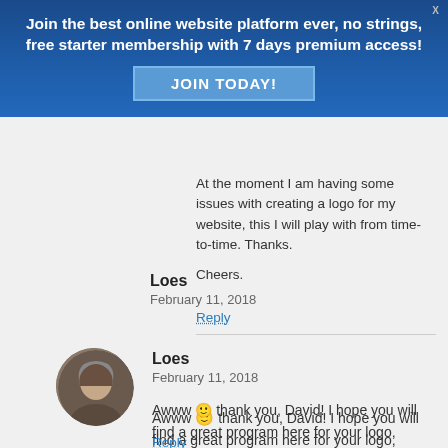[Figure (infographic): Blue promotional banner: 'Join the best online website platform ever, no strings, free starter membership with 7 days premium access!' with a 'JOIN TODAY!' button and an 'X' close button.]
At the moment I am having some issues with creating a logo for my website, this I will play with from time-to-time. Thanks.

Cheers.
Reply
Loes
February 11, 2018
Awww 🙂 thank you, David! I hope you will find a great program here for your logo, success, Loes
Reply
Edward
February 3, 2017